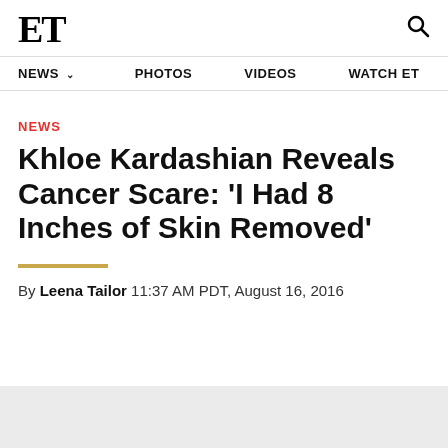ET
NEWS  PHOTOS  VIDEOS  WATCH ET
NEWS
Khloe Kardashian Reveals Cancer Scare: 'I Had 8 Inches of Skin Removed'
By Leena Tailor 11:37 AM PDT, August 16, 2016